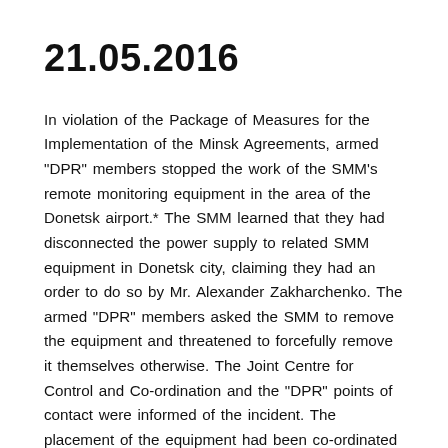21.05.2016
In violation of the Package of Measures for the Implementation of the Minsk Agreements, armed "DPR" members stopped the work of the SMM's remote monitoring equipment in the area of the Donetsk airport.* The SMM learned that they had disconnected the power supply to related SMM equipment in Donetsk city, claiming they had an order to do so by Mr. Alexander Zakharchenko. The armed "DPR" members asked the SMM to remove the equipment and threatened to forcefully remove it themselves otherwise. The Joint Centre for Control and Co-ordination and the "DPR" points of contact were informed of the incident. The placement of the equipment had been co-ordinated with the sides prior to its installation. The actions of the armed "DPR"